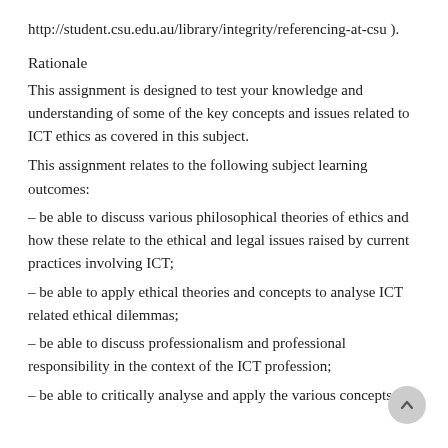http://student.csu.edu.au/library/integrity/referencing-at-csu ).
Rationale
This assignment is designed to test your knowledge and understanding of some of the key concepts and issues related to ICT ethics as covered in this subject.
This assignment relates to the following subject learning outcomes:
– be able to discuss various philosophical theories of ethics and how these relate to the ethical and legal issues raised by current practices involving ICT;
– be able to apply ethical theories and concepts to analyse ICT related ethical dilemmas;
– be able to discuss professionalism and professional responsibility in the context of the ICT profession;
– be able to critically analyse and apply the various concepts